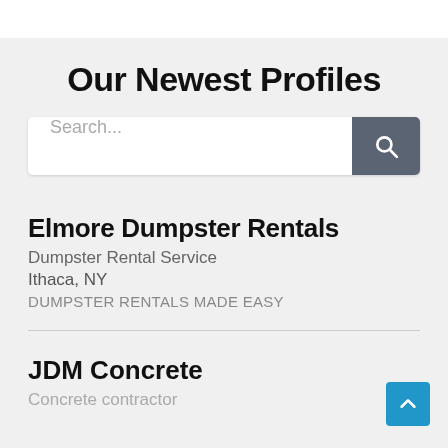Our Newest Profiles
Search...
Elmore Dumpster Rentals
Dumpster Rental Service
Ithaca, NY
DUMPSTER RENTALS MADE EASY
JDM Concrete
Concrete contractor